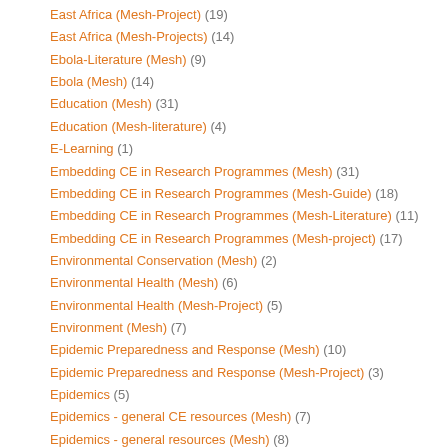East Africa (Mesh-Project) (19)
East Africa (Mesh-Projects) (14)
Ebola-Literature (Mesh) (9)
Ebola (Mesh) (14)
Education (Mesh) (31)
Education (Mesh-literature) (4)
E-Learning (1)
Embedding CE in Research Programmes (Mesh) (31)
Embedding CE in Research Programmes (Mesh-Guide) (18)
Embedding CE in Research Programmes (Mesh-Literature) (11)
Embedding CE in Research Programmes (Mesh-project) (17)
Environmental Conservation (Mesh) (2)
Environmental Health (Mesh) (6)
Environmental Health (Mesh-Project) (5)
Environment (Mesh) (7)
Epidemic Preparedness and Response (Mesh) (10)
Epidemic Preparedness and Response (Mesh-Project) (3)
Epidemics (5)
Epidemics - general CE resources (Mesh) (7)
Epidemics - general resources (Mesh) (8)
Epidemics - high level justification - biomedical (Mesh) (8)
Epidemics - high level justification - humanitarian (Mesh) (7)